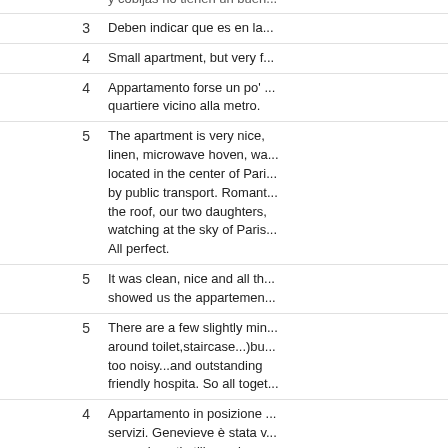y cobijas no tienen un buen...
3   Deben indicar que es en la...
4   Small apartment, but very f...
4   Appartamento forse un po' ... quartiere vicino alla metro.
5   The apartment is very nice, linen, microwave hoven, wa... located in the center of Pari... by public transport. Romant... the roof, our two daughters, watching at the sky of Paris... All perfect.
5   It was clean, nice and all th... showed us the appartemen...
5   There are a few slightly min... around toilet,staircase...)bu... too noisy...and outstanding friendly hospita. So all toget...
4   Appartamento in posizione ... servizi. Genevieve è stata v... suggerimenti utili per vivere... di per sé.
5   Perfetta ubicazione! Zona b... equipaggiato e confortevole... Eccellente accoglienza e as...